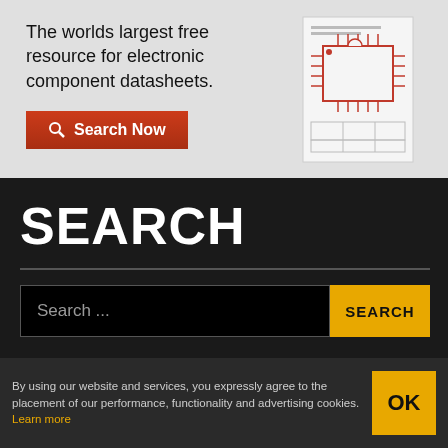[Figure (screenshot): Advertisement banner for electronic component datasheet website with search button]
The worlds largest free resource for electronic component datasheets.
SEARCH
Search ...
NEVER MISS A HACK
By using our website and services, you expressly agree to the placement of our performance, functionality and advertising cookies. Learn more